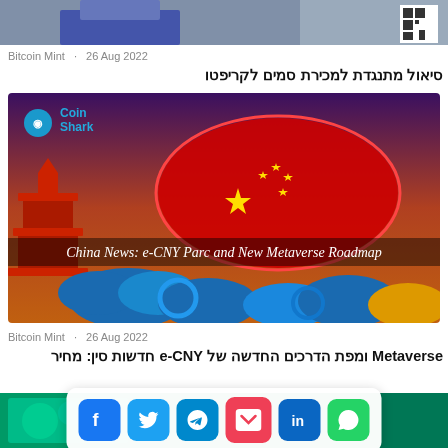[Figure (photo): Top strip showing partial photo of a person in suit and a QR code on the right]
Bitcoin Mint · 26 Aug 2022
סיאול מתנגדת למכירת סמים לקריפטו
[Figure (photo): CoinShark article image showing map of China in red with yellow stars on a purple-orange gradient background with decorative clouds and Chinese pagoda, text reads: China News: e-CNY Parc and New Metaverse Roadmap]
Bitcoin Mint · 26 Aug 2022
Metaverse ומפת הדרכים החדשה של e-CNY חדשות סין: מחיר
[Figure (infographic): Social share bar with icons for Facebook, Twitter, Telegram, Pocket, LinkedIn, WhatsApp]
[Figure (photo): Bottom partial image strip with green/teal background]